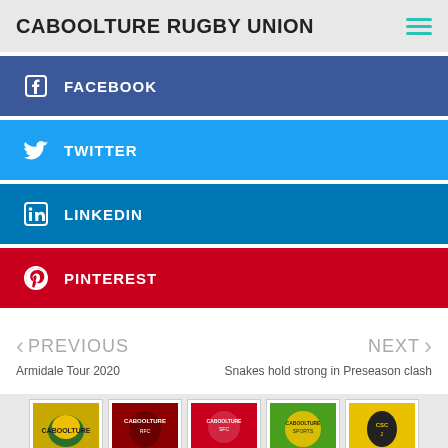CABOOLTURE RUGBY UNION
FACEBOOK
TWITTER
LINKEDIN
PINTEREST
PREVIOUS
Armidale Tour 2020
NEXT
Snakes hold strong in Preseason clash
[Figure (other): Row of five club/organization logos at the bottom of the page]